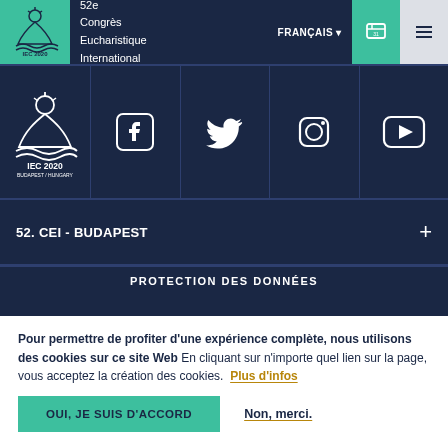52e Congrès Eucharistique International
FRANÇAIS
[Figure (logo): IEC 2020 Budapest Hungary logo with cross and waves on teal background]
[Figure (illustration): Social media icons: Facebook, Twitter, Instagram, YouTube on dark navy background]
52. CEI - BUDAPEST
PROTECTION DES DONNÉES
Pour permettre de profiter d'une expérience complète, nous utilisons des cookies sur ce site Web En cliquant sur n'importe quel lien sur la page, vous acceptez la création des cookies.  Plus d'infos
OUI, JE SUIS D'ACCORD
Non, merci.